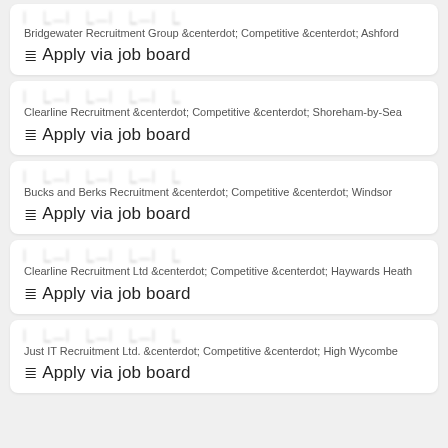Bridgewater Recruitment Group · Competitive · Ashford — Apply via job board
Clearline Recruitment · Competitive · Shoreham-by-Sea — Apply via job board
Bucks and Berks Recruitment · Competitive · Windsor — Apply via job board
Clearline Recruitment Ltd · Competitive · Haywards Heath — Apply via job board
Just IT Recruitment Ltd. · Competitive · High Wycombe — Apply via job board